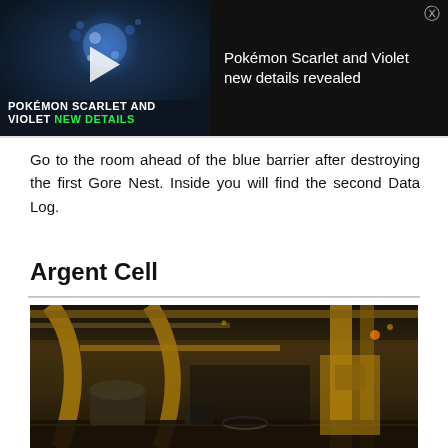[Figure (screenshot): Video ad banner for MW Next Level showing Pokemon Scarlet and Violet with a blue bubble Pokemon character, play button overlay, and text 'POKEMON SCARLET AND VIOLET NEW DETAILS' with a close button. Right side shows title text on dark background.]
Go to the room ahead of the blue barrier after destroying the first Gore Nest. Inside you will find the second Data Log.
Argent Cell
[Figure (screenshot): In-game screenshot showing a large industrial/sci-fi facility interior with yellow structural beams, pipes, and machinery. Dark atmospheric lighting with a player character visible in the foreground.]